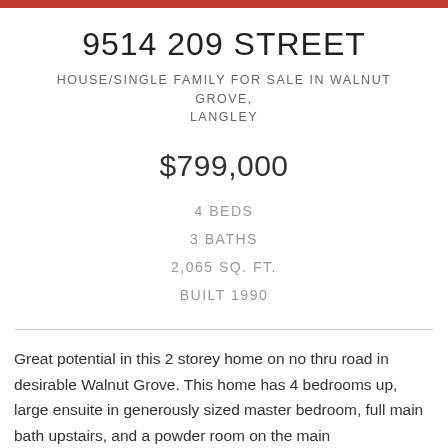9514 209 STREET
HOUSE/SINGLE FAMILY FOR SALE IN WALNUT GROVE, LANGLEY
$799,000
4 BEDS
3 BATHS
2,065 SQ. FT.
BUILT 1990
Great potential in this 2 storey home on no thru road in desirable Walnut Grove. This home has 4 bedrooms up, large ensuite in generously sized master bedroom, full main bath upstairs, and a powder room on the main